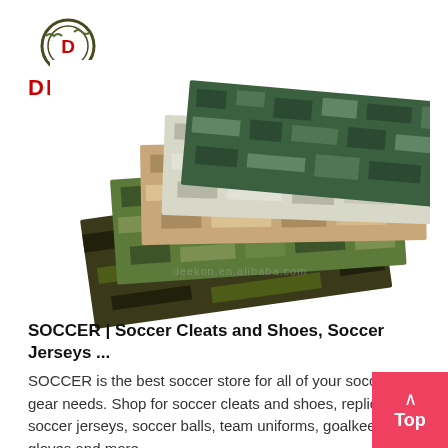[Figure (logo): DEEKON company logo with circular emblem and red text DEEKON below]
[Figure (photo): Stack of camouflage fabric swatches in various patterns including digital camo, woodland camo, desert camo, and tiger stripe camo, fanned out on white background with deekon watermark]
SOCCER | Soccer Cleats and Shoes, Soccer Jerseys ...
SOCCER is the best soccer store for all of your soccer gear needs. Shop for soccer cleats and shoes, replica soccer jerseys, soccer balls, team uniforms, goalkeeper gloves and more.